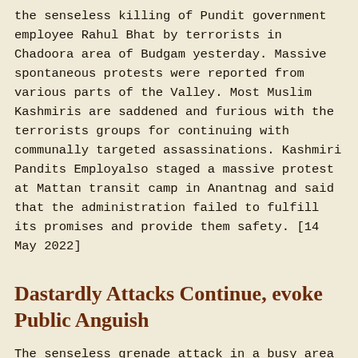the senseless killing of Pundit government employee Rahul Bhat by terrorists in Chadoora area of Budgam yesterday. Massive spontaneous protests were reported from various parts of the Valley. Most Muslim Kashmiris are saddened and furious with the terrorists groups for continuing with communally targeted assassinations. Kashmiri Pandits Employalso staged a massive protest at Mattan transit camp in Anantnag and said that the administration failed to fulfill its promises and provide them safety. [14 May 2022]
Dastardly Attacks Continue, evoke Public Anguish
The senseless grenade attack in a busy area in Srinagar last Sunday has horrified people and forced them to ask why terrorists are perpetating such barbaric acts which only hurt the innocent public. The grenade hurled by terrorists in Sunday